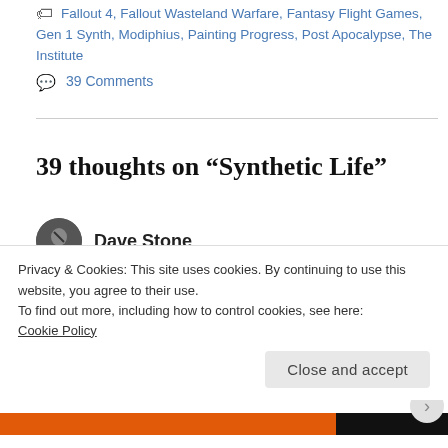Fallout 4, Fallout Wasteland Warfare, Fantasy Flight Games, Gen 1 Synth, Modiphius, Painting Progress, Post Apocalypse, The Institute
39 Comments
39 thoughts on “Synthetic Life”
Dave Stone
July 10, 2021 at 9:21 pm
Great to hear the move went well Jeff, and you are in your new place, brilliant that both families
Privacy & Cookies: This site uses cookies. By continuing to use this website, you agree to their use.
To find out more, including how to control cookies, see here: Cookie Policy
Close and accept